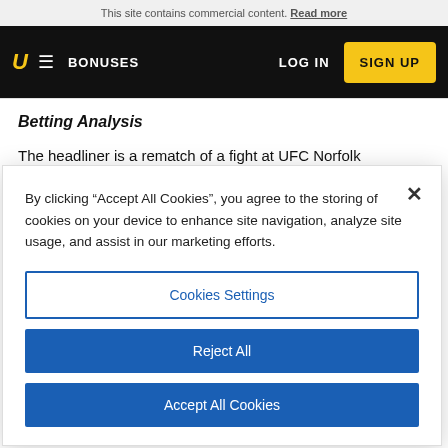This site contains commercial content. Read more
BONUSES  LOG IN  SIGN UP
Betting Analysis
The headliner is a rematch of a fight at UFC Norfolk
By clicking “Accept All Cookies”, you agree to the storing of cookies on your device to enhance site navigation, analyze site usage, and assist in our marketing efforts.
Cookies Settings
Reject All
Accept All Cookies